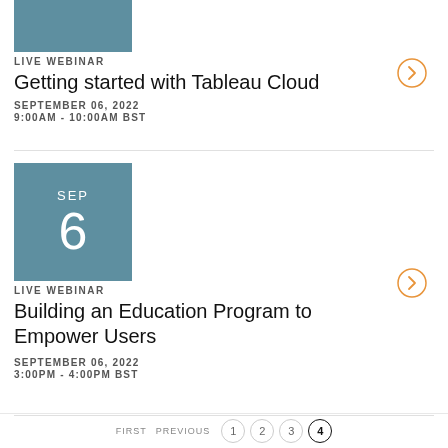[Figure (illustration): Teal/blue-green rectangular thumbnail image (partially cropped at top)]
LIVE WEBINAR
Getting started with Tableau Cloud
SEPTEMBER 06, 2022
9:00AM - 10:00AM BST
[Figure (illustration): Teal calendar icon showing SEP 6]
LIVE WEBINAR
Building an Education Program to Empower Users
SEPTEMBER 06, 2022
3:00PM - 4:00PM BST
FIRST   PREVIOUS   1   2   3   4